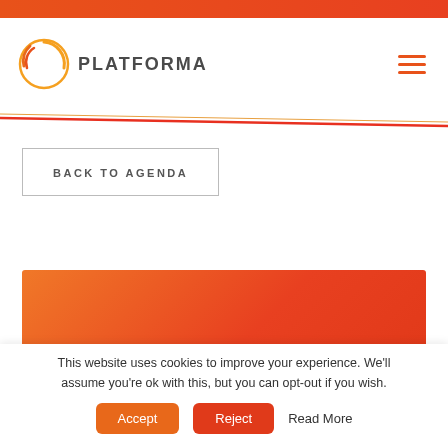PLATFORMA
BACK TO AGENDA
[Figure (other): Orange-to-red gradient rectangular section]
This website uses cookies to improve your experience. We'll assume you're ok with this, but you can opt-out if you wish. Accept  Reject  Read More